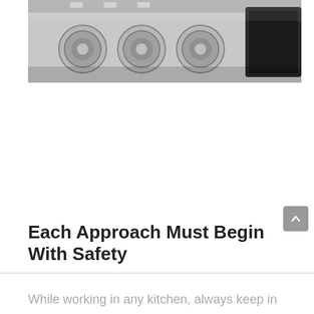[Figure (photo): Close-up photo of a stainless steel oven or range cooktop showing four control knobs on the left and a digital display panel on the right, viewed from above/front angle.]
Each Approach Must Begin With Safety
While working in any kitchen, always keep in